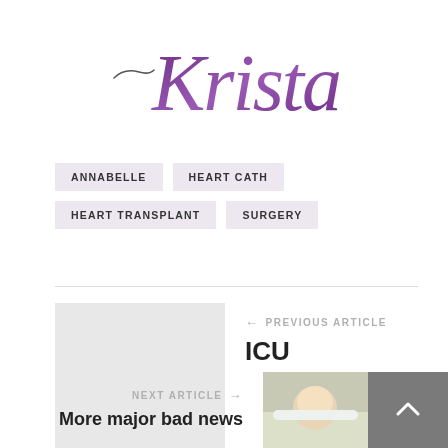[Figure (logo): Krista cursive/script logo in purple with decorative dash flourish]
ANNABELLE
HEART CATH
HEART TRANSPLANT
SURGERY
← PREVIOUS ARTICLE
ICU
NEXT ARTICLE →
More major bad news
[Figure (photo): Photo of a baby lying in a hospital bed/crib]